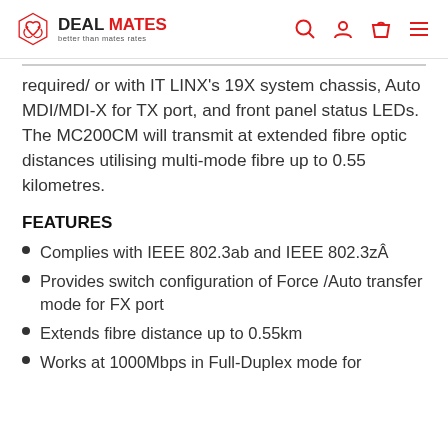DEAL MATES — better than mates rates
required/ or with IT  LINX's 19X system chassis, Auto MDI/MDI-X for TX port, and front panel status LEDs. The MC200CM will transmit at extended fibre optic distances utilising multi-mode fibre up to 0.55 kilometres.
FEATURES
Complies with IEEE 802.3ab and IEEE 802.3zÂ
Provides switch configuration of Force /Auto transfer mode for FX port
Extends fibre distance up to 0.55km
Works at 1000Mbps in Full-Duplex mode for